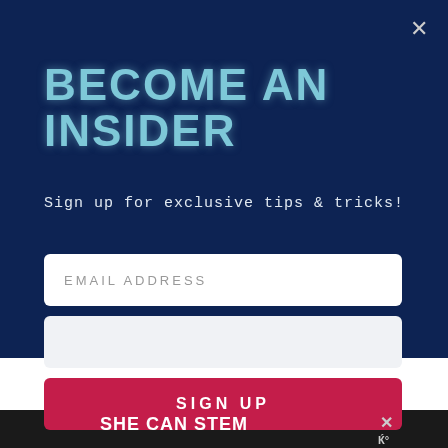BECOME AN INSIDER
Sign up for exclusive tips & tricks!
[Figure (screenshot): Email address input field (white rounded rectangle with placeholder text EMAIL ADDRESS)]
[Figure (screenshot): Second input field (light grey rounded rectangle, empty)]
[Figure (screenshot): Sign Up button (red/crimson rounded rectangle with white uppercase text SIGN UP)]
SHE CAN STEM